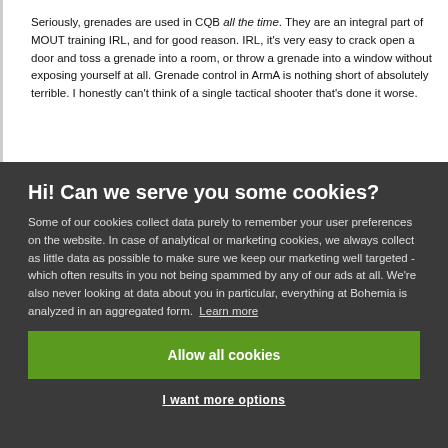Seriously, grenades are used in CQB all the time. They are an integral part of MOUT training IRL, and for good reason. IRL, it's very easy to crack open a door and toss a grenade into a room, or throw a grenade into a window without exposing yourself at all. Grenade control in ArmA is nothing short of absolutely terrible. I honestly can't think of a single tactical shooter that's done it worse.
Hi! Can we serve you some cookies?
Some of our cookies collect data purely to remember your user preferences on the website. In case of analytical or marketing cookies, we always collect as little data as possible to make sure we keep our marketing well targeted - which often results in you not being spammed by any of our ads at all. We're also never looking at data about you in particular, everything at Bohemia is analyzed in an aggregated form. Learn more
Allow all cookies
I want more options